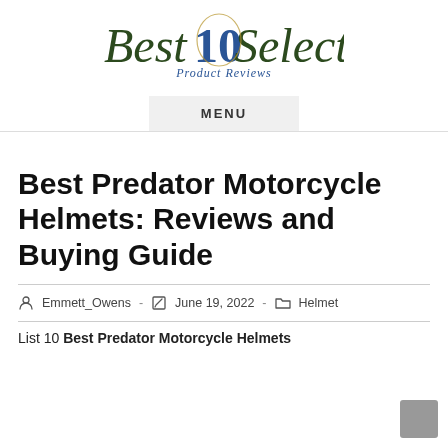[Figure (logo): Best 10 Select Product Reviews logo with decorative script text in dark green and blue colors]
MENU
Best Predator Motorcycle Helmets: Reviews and Buying Guide
Emmett_Owens  -  June 19, 2022  -  Helmet
List 10 Best Predator Motorcycle Helmets